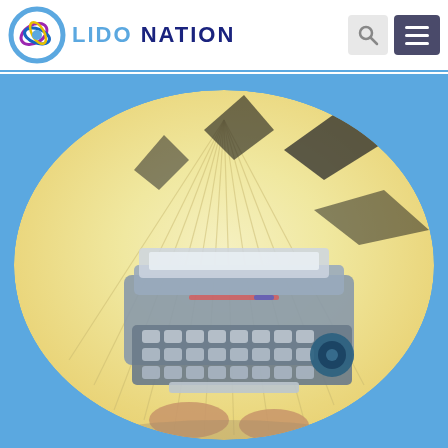[Figure (logo): Lido Nation logo with circular swirl graphic on the left and text 'LIDO NATION' to the right]
[Figure (illustration): Artistic watercolor-style illustration of a vintage typewriter held in someone's hands, set inside a large oval/circle shape against a blue background. The background inside the oval is yellowish-cream with radiating lines, and the typewriter is rendered in a stylized, surreal way.]